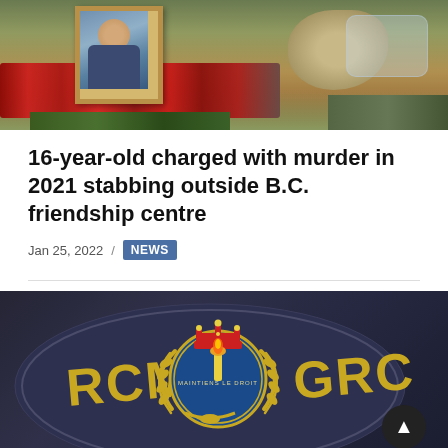[Figure (photo): Memorial scene with a framed portrait photo, red roses, and other flowers laid on the ground outdoors]
16-year-old charged with murder in 2021 stabbing outside B.C. friendship centre
Jan 25, 2022 / NEWS
[Figure (photo): Close-up of an RCMP (Royal Canadian Mounted Police) / GRC badge or shoulder patch on a dark navy uniform, with gold lettering RCMP on the left and GRC on the right, and a central crest with crown]